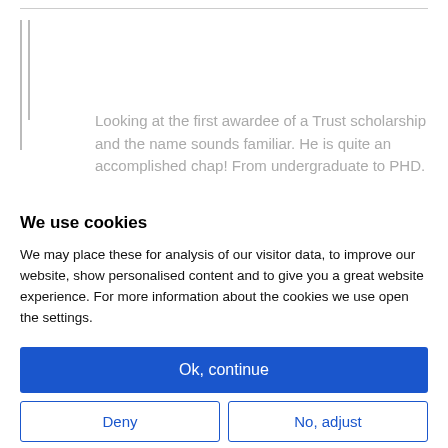Looking at the first awardee of a Trust scholarship and the name sounds familiar. He is quite an accomplished chap! From undergraduate to PHD.
We use cookies
We may place these for analysis of our visitor data, to improve our website, show personalised content and to give you a great website experience. For more information about the cookies we use open the settings.
Ok, continue
Deny
No, adjust